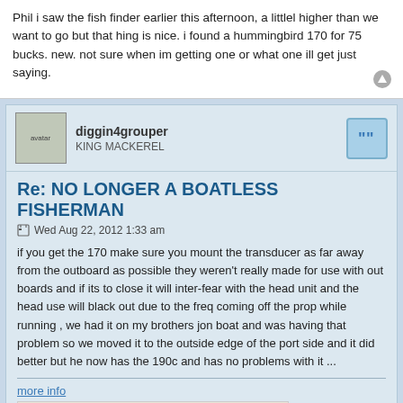Phil i saw the fish finder earlier this afternoon, a littlel higher than we want to go but that hing is nice. i found a hummingbird 170 for 75 bucks. new. not sure when im getting one or what one ill get just saying.
diggin4grouper
KING MACKEREL
Re: NO LONGER A BOATLESS FISHERMAN
Wed Aug 22, 2012 1:33 am
if you get the 170 make sure you mount the transducer as far away from the outboard as possible they weren't really made for use with out boards and if its to close it will inter-fear with the head unit and the head use will black out due to the freq coming off the prop while running , we had it on my brothers jon boat and was having that problem so we moved it to the outside edge of the port side and it did better but he now has the 190c and has no problems with it ...
more info
[Figure (illustration): Image of P.E.T.A. logo with text 'People Eating Tasty Animals' on a beige background with Photobucket watermark]